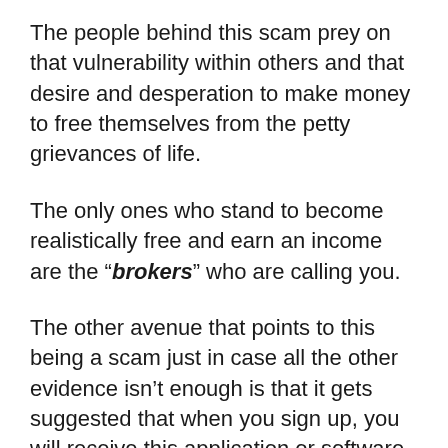The people behind this scam prey on that vulnerability within others and that desire and desperation to make money to free themselves from the petty grievances of life.
The only ones who stand to become realistically free and earn an income are the “brokers” who are calling you.
The other avenue that points to this being a scam just in case all the other evidence isn’t enough is that it gets suggested that when you sign up, you will receive this application or software except there is no software.
Hoaxes and fake sites are still bad, but it would be less so if there were software involved, even it was a bogus piece of software. Most of the time